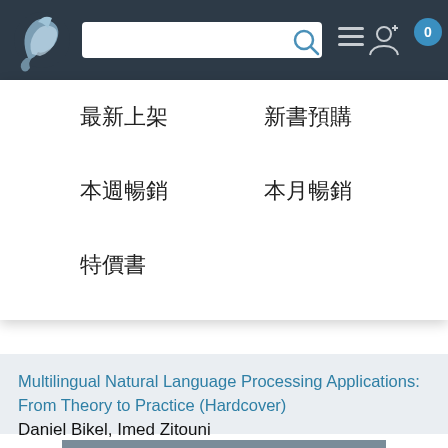[Figure (screenshot): Website navigation bar with dragon logo, search box, and icons]
最新上架
新書預購
本週暢銷
本月暢銷
特價書
Multilingual Natural Language Processing Applications: From Theory to Practice (Hardcover)
Daniel Bikel, Imed Zitouni
[Figure (photo): Book cover of Multilingual Natural Language Processing showing title text on grey background]